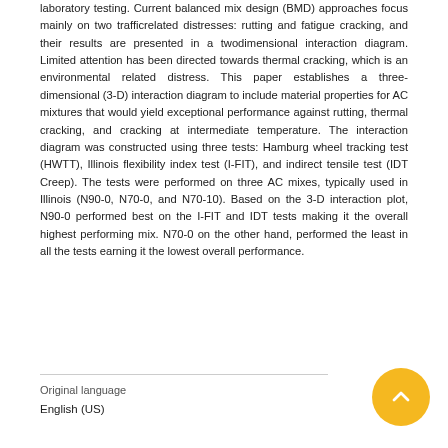laboratory testing. Current balanced mix design (BMD) approaches focus mainly on two trafficrelated distresses: rutting and fatigue cracking, and their results are presented in a twodimensional interaction diagram. Limited attention has been directed towards thermal cracking, which is an environmental related distress. This paper establishes a three-dimensional (3-D) interaction diagram to include material properties for AC mixtures that would yield exceptional performance against rutting, thermal cracking, and cracking at intermediate temperature. The interaction diagram was constructed using three tests: Hamburg wheel tracking test (HWTT), Illinois flexibility index test (I-FIT), and indirect tensile test (IDT Creep). The tests were performed on three AC mixes, typically used in Illinois (N90-0, N70-0, and N70-10). Based on the 3-D interaction plot, N90-0 performed best on the I-FIT and IDT tests making it the overall highest performing mix. N70-0 on the other hand, performed the least in all the tests earning it the lowest overall performance.
Original language
English (US)